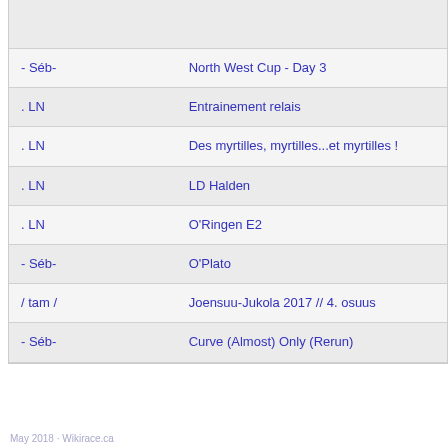| Author | Title |
| --- | --- |
|  |  |
| - Séb- | North West Cup - Day 3 |
| . LN | Entrainement relais |
| . LN | Des myrtilles, myrtilles...et myrtilles ! |
| . LN | LD Halden |
| . LN | O'Ringen E2 |
| - Séb- | O'Plato |
| / tam / | Joensuu-Jukola 2017 // 4. osuus |
| - Séb- | Curve (Almost) Only (Rerun) |
May 2018 · Wikirace.ca